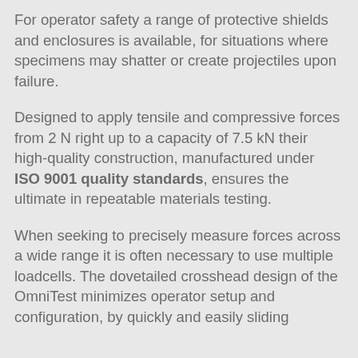For operator safety a range of protective shields and enclosures is available, for situations where specimens may shatter or create projectiles upon failure.
Designed to apply tensile and compressive forces from 2 N right up to a capacity of 7.5 kN their high-quality construction, manufactured under ISO 9001 quality standards, ensures the ultimate in repeatable materials testing.
When seeking to precisely measure forces across a wide range it is often necessary to use multiple loadcells. The dovetailed crosshead design of the OmniTest minimizes operator setup and configuration, by quickly and easily sliding